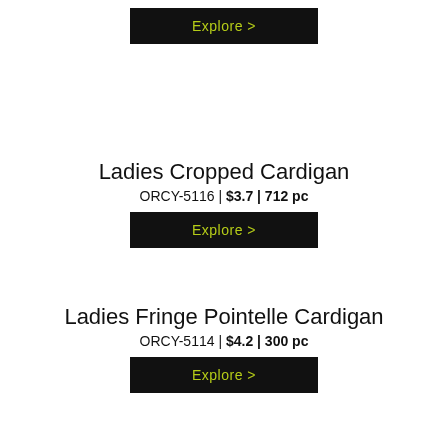[Figure (other): Black Explore > button at top of page]
Ladies Cropped Cardigan
ORCY-5116 | $3.7 | 712 pc
[Figure (other): Black Explore > button for Ladies Cropped Cardigan]
Ladies Fringe Pointelle Cardigan
ORCY-5114 | $4.2 | 300 pc
[Figure (other): Black Explore > button for Ladies Fringe Pointelle Cardigan]